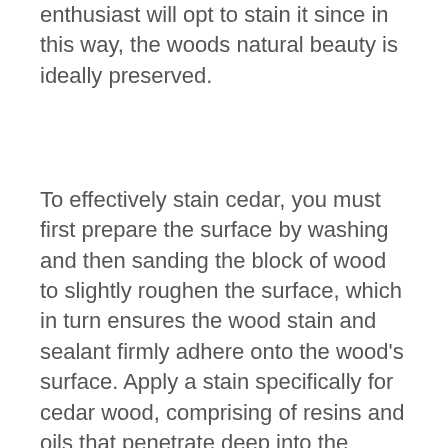enthusiast will opt to stain it since in this way, the woods natural beauty is ideally preserved.
To effectively stain cedar, you must first prepare the surface by washing and then sanding the block of wood to slightly roughen the surface, which in turn ensures the wood stain and sealant firmly adhere onto the wood's surface. Apply a stain specifically for cedar wood, comprising of resins and oils that penetrate deep into the wood's grains. Use protective gear and either a sponge or paintbrush to gently apply several thin coats of the stain along the grains of the wood.